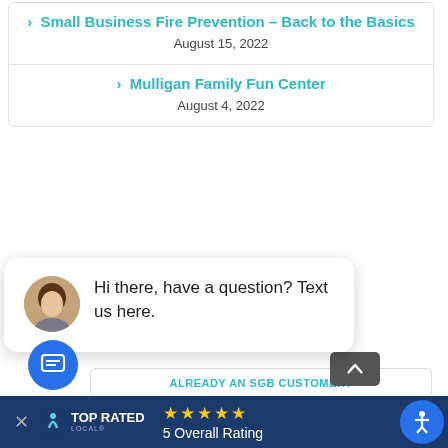Small Business Fire Prevention – Back to the Basics
August 15, 2022
Mulligan Family Fun Center
August 4, 2022
close  CUSTOM, SECURE, PRIVATE QUOTES
Hi there, have a question? Text us here.
ALREADY AN SGB CUSTOMER?
[Figure (screenshot): Bottom bar with Top Rated Local logo, star ratings (5 Overall Rating), and close/accessibility buttons]